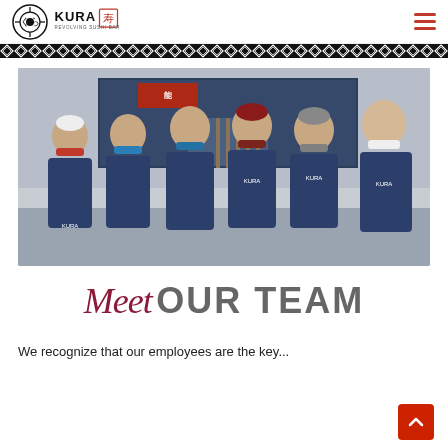Kura Revolving Sushi Bar - logo and navigation
[Figure (illustration): Diamond/geometric repeating pattern band in black across the full width]
[Figure (photo): Group of six Kura Sushi Bar employees wearing navy blue uniforms and face masks, standing in front of the restaurant entrance]
Meet OUR TEAM
We recognize that our employees are the key...